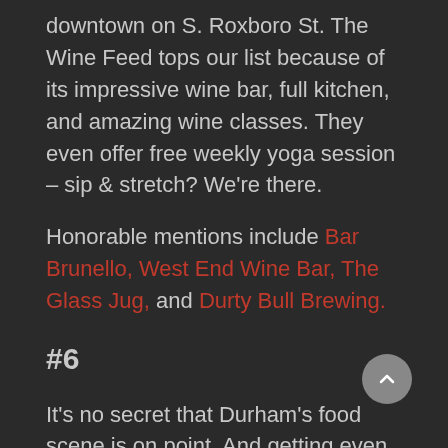downtown on S. Roxboro St. The Wine Feed tops our list because of its impressive wine bar, full kitchen, and amazing wine classes. They even offer free weekly yoga session – sip & stretch? We're there.
Honorable mentions include Bar Brunello, West End Wine Bar, The Glass Jug, and Durty Bull Brewing.
#6
It's no secret that Durham's food scene is on point. And getting even better. Though we have a TON of restaurant recs in the Dirty D, nothing warms our bellies more than a hearty ramen noodle bowl. RUN, don't walk to Dashi